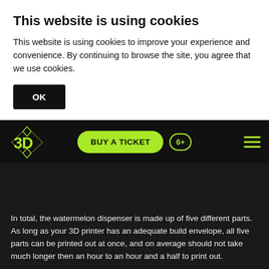This website is using cookies
This website is using cookies to improve your experience and convenience. By continuing to browse the site, you agree that we use cookies.
OK
3D | BUY A TICKET | 6+
In total, the watermelon dispenser is made up of five different parts. As long as your 3D printer has an adequate build envelope, all five parts can be printed out at once, and on average should not take much longer then an hour to an hour and a half to print out.
Check out the video below from Household Hacker, explaining the entire process in detail.